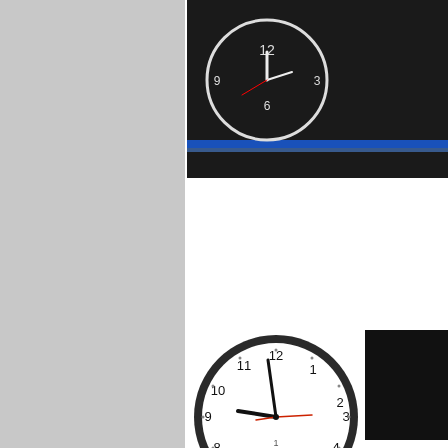[Figure (photo): Large gray placeholder panel on the left side of the page]
[Figure (photo): Partial view of a dark digital clock display with blue accent lighting, top right]
[Figure (photo): NTP Analog Clock showing approximately 9:49, white face with black numerals and rim, red second hand]
[Figure (photo): Partial dark/black digital clock display, right side]
NTP Analog Clock
with Bell Control
N
W
-
Uses any SNTP se